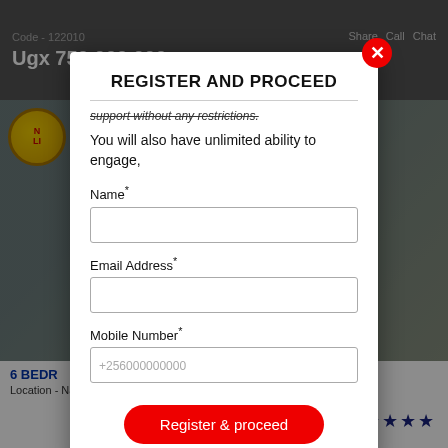Code - 122010
Ugx 750,000,000
Share   Call   Chat
[Figure (screenshot): Background real estate listing page showing a property image with a 'NEW LISTING' badge, partially obscured by modal overlay.]
REGISTER AND PROCEED
support without any restrictions.
You will also have unlimited ability to engage,
Name*
Email Address*
Mobile Number*
Register & proceed
6 BEDROOMS ... LA
Location - Najjera
★★★★